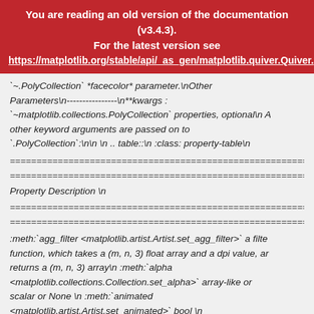You are reading an old version of the documentation (v3.4.3).
For the latest version see
https://matplotlib.org/stable/api/_as_gen/matplotlib.quiver.Quiver.
`~.PolyCollection` *facecolor* parameter.\n\nOther Parameters\n----------------\n**kwargs :\n`~matplotlib.collections.PolyCollection` properties, optional\n All other keyword arguments are passed on to\n`.PolyCollection`:\n\n \n .. table::\n :class: property-table\n\n
===========================================================
Property Description \n
===========================================================
:meth:`agg_filter <matplotlib.artist.Artist.set_agg_filter>` a filter function, which takes a (m, n, 3) float array and a dpi value, and returns a (m, n, 3) array\n :meth:`alpha <matplotlib.collections.Collection.set_alpha>` array-like or scalar or None \n :meth:`animated <matplotlib.artist.Artist.set_animated>` bool \n :meth:`antialiased